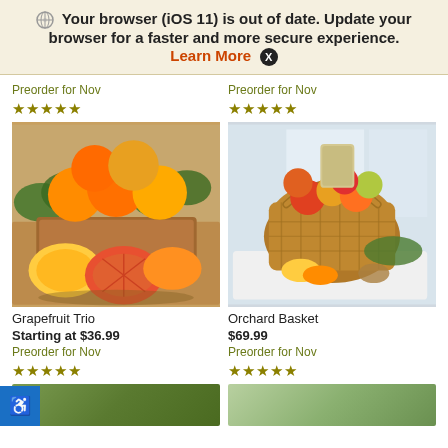Your browser (iOS 11) is out of date. Update your browser for a faster and more secure experience. Learn More X
Preorder for Nov
★★★★★
Preorder for Nov
★★★★★
[Figure (photo): Grapefruit Trio product photo showing oranges and grapefruits in a wooden box with green leaves, and sliced citrus in front]
[Figure (photo): Orchard Basket product photo showing a wicker basket filled with mixed fruits including oranges, apples, and pears with snacks]
Grapefruit Trio
Starting at $36.99
Orchard Basket
$69.99
Preorder for Nov
★★★★★
Preorder for Nov
★★★★★
[Figure (photo): Bottom left product thumbnail, partially visible, appears green/plant themed]
[Figure (photo): Bottom right product thumbnail, partially visible, appears to show greenery]